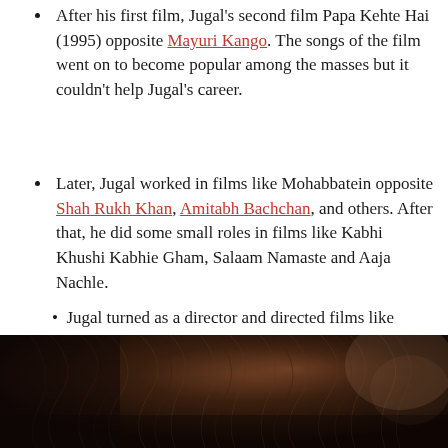After his first film, Jugal's second film Papa Kehte Hai (1995) opposite Mayuri Kango. The songs of the film went on to become popular among the masses but it couldn't help Jugal's career.
Later, Jugal worked in films like Mohabbatein opposite Shah Rukh Khan, Amitabh Bachchan, and others. After that, he did some small roles in films like Kabhi Khushi Kabhie Gham, Salaam Namaste and Aaja Nachle.
Jugal turned as a director and directed films like Roadside Romeo (2008) and Pyaar Impossible (2010). Interestingly, Jugal won a National Award of Best Director for Roadside Romeo (Animation Film).
[Figure (photo): Close-up photo of a person's hair and partial face, dark tones with brown and dark background]